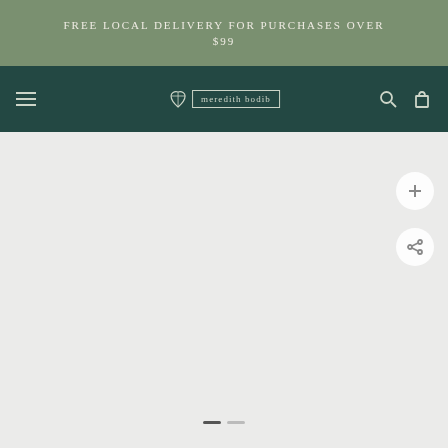FREE LOCAL DELIVERY FOR PURCHASES OVER $99
[Figure (logo): Navigation bar with hamburger menu icon on left, brand logo in center reading 'meredith bodib' with leaf icon, search icon and cart icon on right, on dark green background]
[Figure (other): Light gray product image area with a circular plus/add button and a circular share button on the right side, and a progress indicator at the bottom]